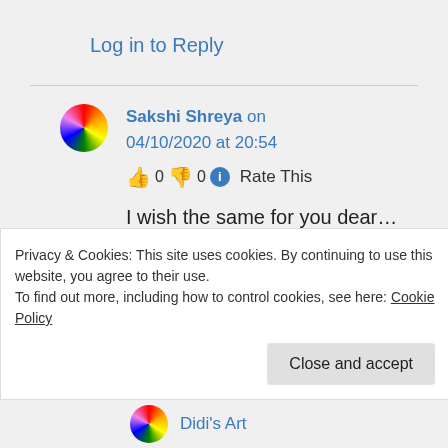Log in to Reply
Sakshi Shreya on 04/10/2020 at 20:54
👍 0 👎 0 ℹ Rate This
I wish the same for you dear… happy blogging 👍
Privacy & Cookies: This site uses cookies. By continuing to use this website, you agree to their use.
To find out more, including how to control cookies, see here: Cookie Policy
Close and accept
Didi's Art